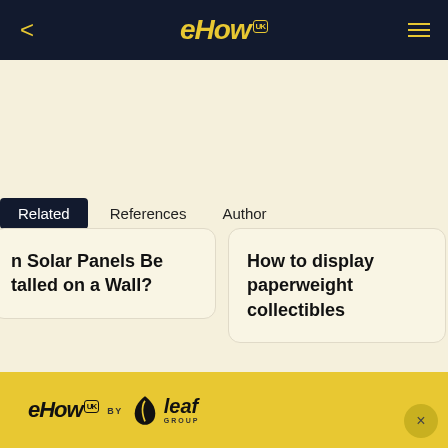eHow UK
Related   References   Author
n Solar Panels Be talled on a Wall?
How to display paperweight collectibles
eHow UK by leaf GROUP